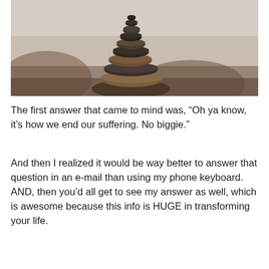[Figure (photo): A stack of balanced smooth river stones/pebbles photographed close-up, with a blurred background of more rocks and a light sky. The stones are dark grey and brown, stacked vertically in a cairn formation.]
The first answer that came to mind was, “Oh ya know, it’s how we end our suffering. No biggie.”
And then I realized it would be way better to answer that question in an e-mail than using my phone keyboard. AND, then you’d all get to see my answer as well, which is awesome because this info is HUGE in transforming your life.